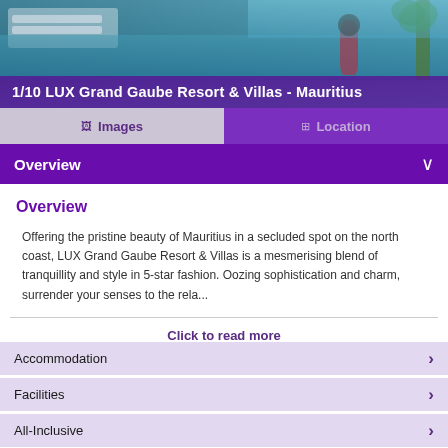[Figure (photo): Luxury resort pool and beach scene at LUX Grand Gaube Resort & Villas, Mauritius]
1/10 LUX Grand Gaube Resort & Villas - Mauritius
Overview
Overview
Offering the pristine beauty of Mauritius in a secluded spot on the north coast, LUX Grand Gaube Resort & Villas is a mesmerising blend of tranquillity and style in 5-star fashion. Oozing sophistication and charm, surrender your senses to the rela...
Click to read more
Accommodation
Facilities
All-Inclusive
Offer Details